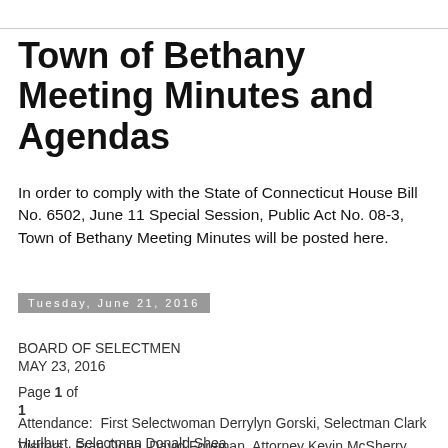Town of Bethany Meeting Minutes and Agendas
In order to comply with the State of Connecticut House Bill No. 6502, June 11 Special Session, Public Act No. 08-3, Town of Bethany Meeting Minutes will be posted here.
Tuesday, June 21, 2016
BOARD OF SELECTMEN
MAY 23, 2016
Page 1 of
1
Attendance:  First Selectwoman Derrylyn Gorski, Selectman Clark Hurlburt, Selectman Donald Shea
Visitors:  Fran Doba, David Foreman, Attorney Kevin McSherry